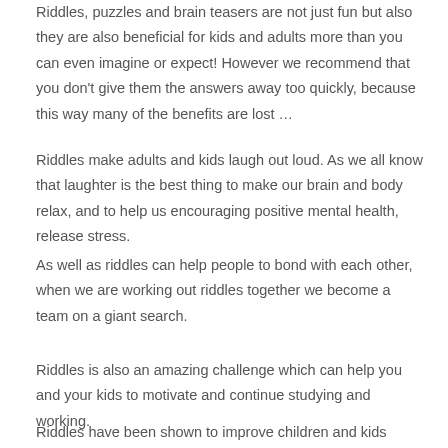Riddles, puzzles and brain teasers are not just fun but also they are also beneficial for kids and adults more than you can even imagine or expect! However we recommend that you don't give them the answers away too quickly, because this way many of the benefits are lost …
Riddles make adults and kids laugh out loud. As we all know that laughter is the best thing to make our brain and body relax, and to help us encouraging positive mental health, release stress.
As well as riddles can help people to bond with each other, when we are working out riddles together we become a team on a giant search.
Riddles is also an amazing challenge which can help you and your kids to motivate and continue studying and working.
Riddles have been shown to improve children and kids comprehension and creativity. They are allow them to learn new